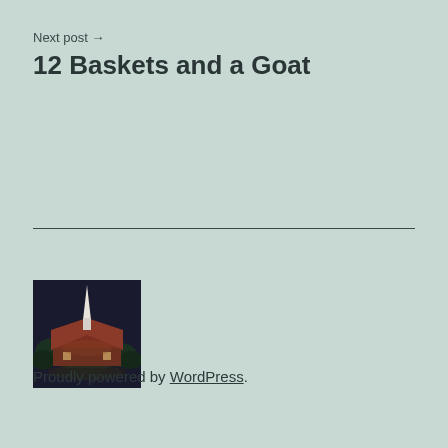Next post →
12 Baskets and a Goat
[Figure (photo): Aerial photograph of a church building with a distinctive white steeple/spire, surrounded by trees, taken at dusk or evening]
Proudly powered by WordPress.